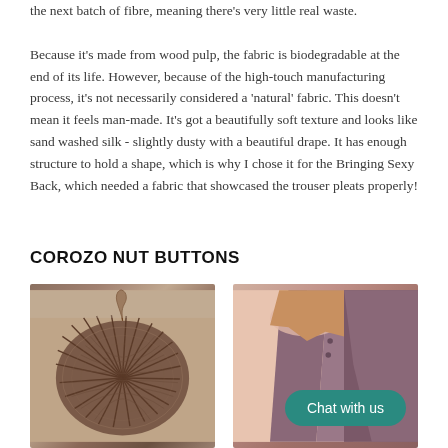the next batch of fibre, meaning there's very little real waste.

Because it's made from wood pulp, the fabric is biodegradable at the end of its life. However, because of the high-touch manufacturing process, it's not necessarily considered a 'natural' fabric. This doesn't mean it feels man-made. It's got a beautifully soft texture and looks like sand washed silk - slightly dusty with a beautiful drape. It has enough structure to hold a shape, which is why I chose it for the Bringing Sexy Back, which needed a fabric that showcased the trouser pleats properly!
COROZO NUT BUTTONS
[Figure (photo): Close-up photo of a corozo nut (tagua nut) — a round, spiky brown seed pod with a small shoot emerging from the top, photographed on a light stone surface.]
[Figure (photo): Photo of a person's shoulder/back wearing a mauve/purple garment with visible button detail, with a teal 'Chat with us' button overlay in the lower right.]